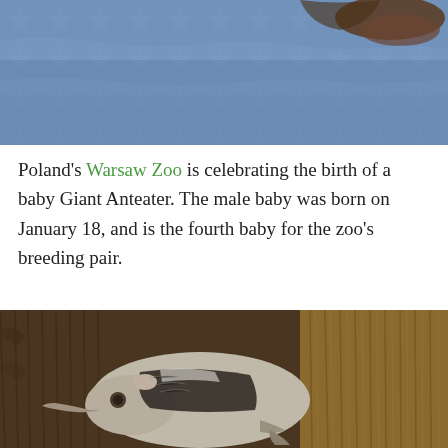[Figure (photo): Top portion of an animal on a blue patterned blanket/fabric, partially cropped — appears to be a small animal like an anteater pup on a textile.]
Poland's Warsaw Zoo is celebrating the birth of a baby Giant Anteater. The male baby was born on January 18, and is the fourth baby for the zoo's breeding pair.
[Figure (photo): A baby Giant Anteater (pup) resting on the fur-covered back of its mother, showing its distinctive elongated snout and black-and-white stripe markings.]